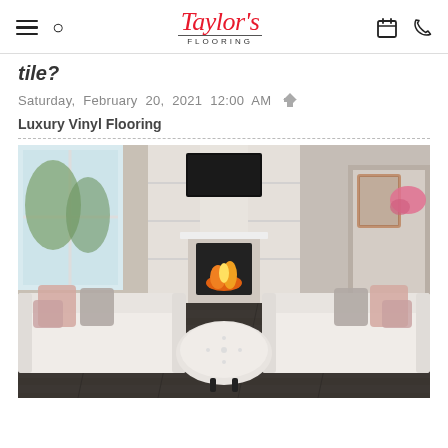Taylor's Flooring
tile?
Saturday, February 20, 2021 12:00 AM
Luxury Vinyl Flooring
[Figure (photo): Elegant living room with two white sofas, floral and gray throw pillows, a round tufted white ottoman, a fireplace with built-in white shelving and a flat-screen TV above it, and dark luxury vinyl plank flooring.]